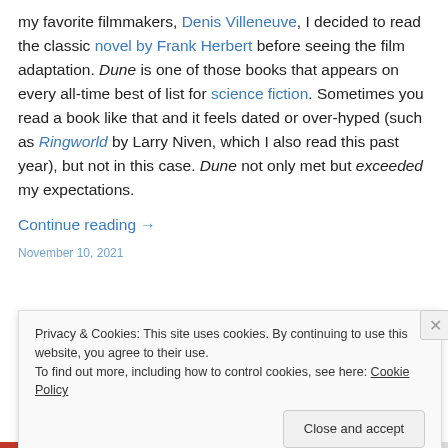my favorite filmmakers, Denis Villeneuve, I decided to read the classic novel by Frank Herbert before seeing the film adaptation. Dune is one of those books that appears on every all-time best of list for science fiction. Sometimes you read a book like that and it feels dated or over-hyped (such as Ringworld by Larry Niven, which I also read this past year), but not in this case. Dune not only met but exceeded my expectations.
Continue reading →
November 10, 2021
Privacy & Cookies: This site uses cookies. By continuing to use this website, you agree to their use.
To find out more, including how to control cookies, see here: Cookie Policy